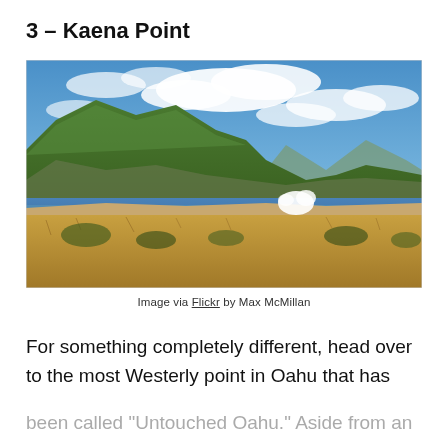3 – Kaena Point
[Figure (photo): Coastal landscape photograph showing Kaena Point, Oahu. Green mountains in the background, blue ocean with waves, dry golden grass in the foreground, dramatic cloudy sky.]
Image via Flickr by Max McMillan
For something completely different, head over to the most Westerly point in Oahu that has been called “Untouched Oahu.” Aside from an